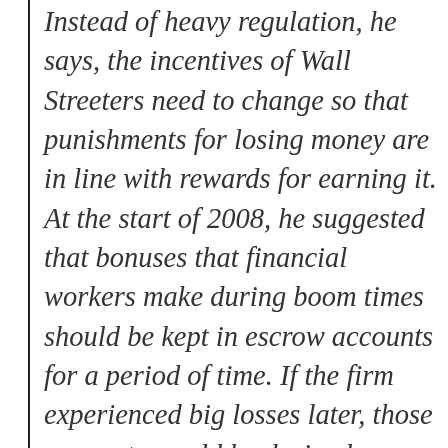Instead of heavy regulation, he says, the incentives of Wall Streeters need to change so that punishments for losing money are in line with rewards for earning it. At the start of 2008, he suggested that bonuses that financial workers make during boom times should be kept in escrow accounts for a period of time. If the firm experienced big losses later, those accounts would be drained. Facing withering criticism over the bonuses paid out in the boom, financial giant UBS and Wall Street firm Morgan Stanley have recently announced they're adopting policies along the lines of what Mr. Raian proposed